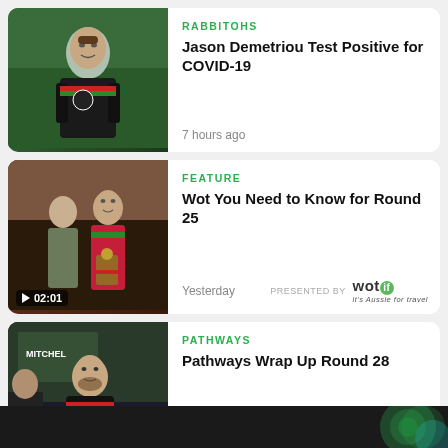[Figure (photo): News card 1: Jason Demetriou photo - rugby league coach in black Rabbitohs polo]
RABBITOHS
Jason Demetriou Test Positive for COVID-19
7 hours ago
[Figure (photo): News card 2: Video thumbnail - man in suit and player in Rabbitohs jersey holding trophy, 02:01]
FEATURE
Wot You Need to Know for Round 25
Yesterday
PRESENTED BY wotif it's Aussie for travel
[Figure (photo): News card 3: Video thumbnail - player in Rabbitohs jersey holding award, 01:53]
PATHWAYS
Pathways Wrap Up Round 28
Yesterday
PRESENTED BY Ingenia Holiday Parks